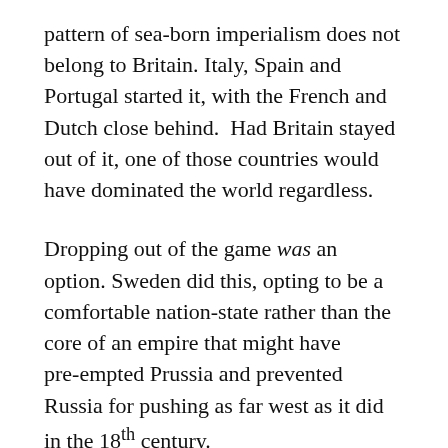pattern of sea-born imperialism does not belong to Britain. Italy, Spain and Portugal started it, with the French and Dutch close behind.  Had Britain stayed out of it, one of those countries would have dominated the world regardless.
Dropping out of the game was an option. Sweden did this, opting to be a comfortable nation-state rather than the core of an empire that might have pre-empted Prussia and prevented Russia for pushing as far west as it did in the 18th century.
Sweden and England both had enough